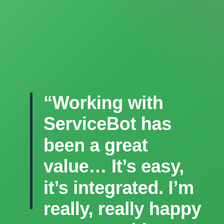“Working with ServiceBot has been a great value… It’s easy, it’s integrated. I’m really, really happy we went with ServiceBot.”